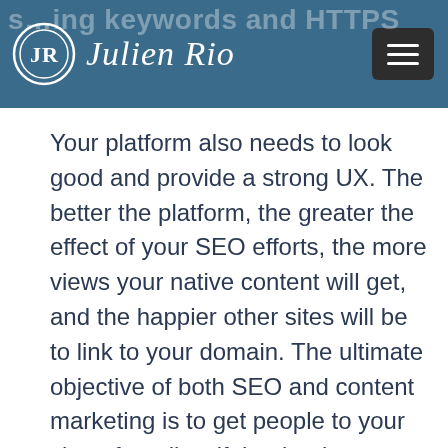Julien Rio
Your platform also needs to look good and provide a strong UX. The better the platform, the greater the effect of your SEO efforts, the more views your native content will get, and the happier other sites will be to link to your domain. The ultimate objective of both SEO and content marketing is to get people to your site, after all — if that leads to user